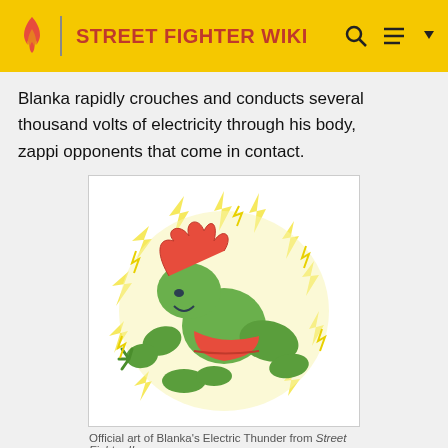STREET FIGHTER WIKI
Blanka rapidly crouches and conducts several thousand volts of electricity through his body, zappi opponents that come in contact.
[Figure (illustration): Official art of Blanka performing Electric Thunder from Street Fighter II. Blanka is crouched in a green muscular form with red hair, surrounded by jagged yellow lightning bolts.]
Official art of Blanka's Electric Thunder from Street Fighter II.
The damage, duration and horizontal range are determined by the punch button pressed.